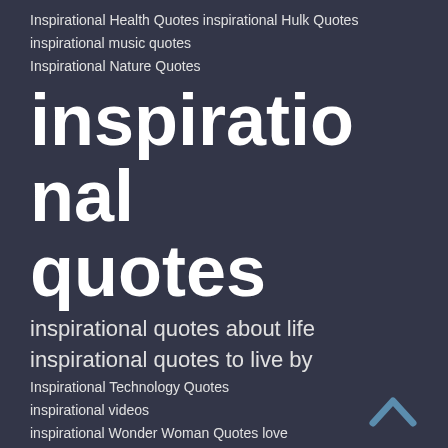Inspirational Health Quotes inspirational Hulk Quotes
inspirational music quotes
Inspirational Nature Quotes
inspirational quotes
inspirational quotes about life inspirational quotes to live by
Inspirational Technology Quotes
inspirational videos
inspirational Wonder Woman Quotes love